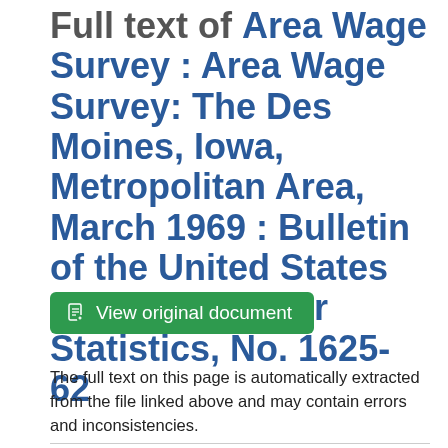Full text of Area Wage Survey : Area Wage Survey: The Des Moines, Iowa, Metropolitan Area, March 1969 : Bulletin of the United States Bureau of Labor Statistics, No. 1625-62
View original document
The full text on this page is automatically extracted from the file linked above and may contain errors and inconsistencies.